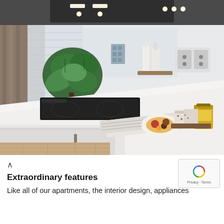[Figure (photo): Modern kitchen interior with white countertops, black induction hob, green plant, decorative bottles, a jar of honey, small cups, and an open cookbook. Light wood flooring, sheer curtain blinds, and under-cabinet lighting visible.]
^
Extraordinary features
Like all of our apartments, the interior design, appliances